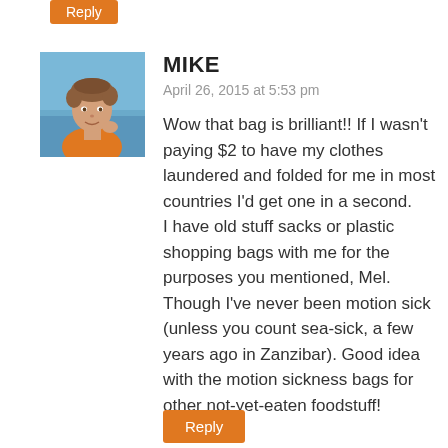[Figure (photo): Profile photo of commenter Mike — young man with light brown hair near water, wearing orange shirt]
MIKE
April 26, 2015 at 5:53 pm
Wow that bag is brilliant!! If I wasn't paying $2 to have my clothes laundered and folded for me in most countries I'd get one in a second.
I have old stuff sacks or plastic shopping bags with me for the purposes you mentioned, Mel. Though I've never been motion sick (unless you count sea-sick, a few years ago in Zanzibar). Good idea with the motion sickness bags for other not-yet-eaten foodstuff!